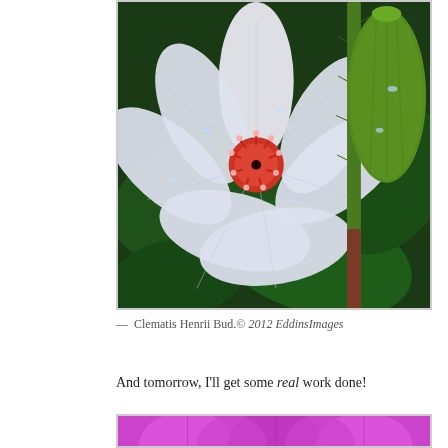[Figure (photo): Close-up photograph of a Clematis Henrii flower bud. The white flower with pinkish-red center stamens is shown next to a large green fuzzy bud. Water droplets are visible on the petals and bud. Dark green leaves are visible in the background.]
— Clematis Henrii Bud.© 2012 EddinsImages
And tomorrow, I'll get some real work done!
[Figure (photo): Partial view of a purple/magenta flower, cropped at the bottom of the page.]